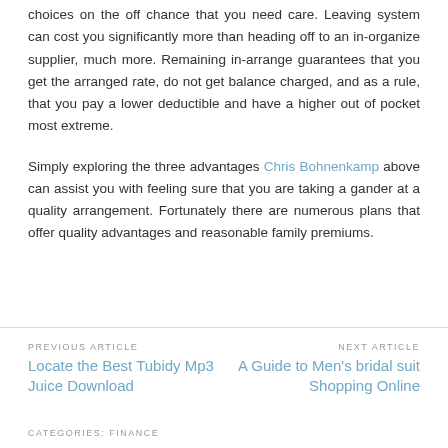choices on the off chance that you need care. Leaving system can cost you significantly more than heading off to an in-organize supplier, much more. Remaining in-arrange guarantees that you get the arranged rate, do not get balance charged, and as a rule, that you pay a lower deductible and have a higher out of pocket most extreme.
Simply exploring the three advantages Chris Bohnenkamp above can assist you with feeling sure that you are taking a gander at a quality arrangement. Fortunately there are numerous plans that offer quality advantages and reasonable family premiums.
PREVIOUS ARTICLE: Locate the Best Tubidy Mp3 Juice Download | NEXT ARTICLE: A Guide to Men's bridal suit Shopping Online
CATEGORIES: FINANCE